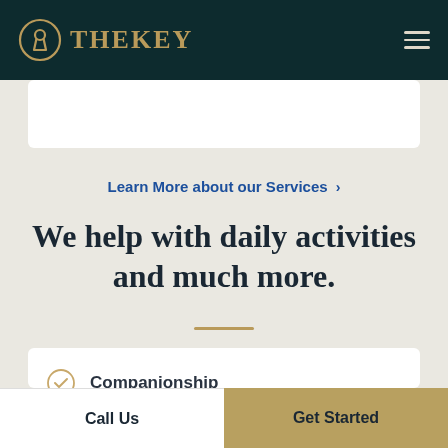TheKey
Learn More about our Services >
We help with daily activities and much more.
Companionship
Personal Care and Hygiene
Call Us
Get Started